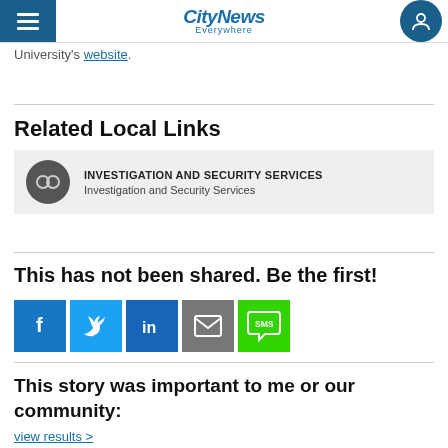CityNews Everywhere
University's website.
Related Local Links
INVESTIGATION AND SECURITY SERVICES
Investigation and Security Services
This has not been shared. Be the first!
[Figure (infographic): Social share buttons: Facebook, Twitter, LinkedIn, Email, SMS]
This story was important to me or our community:
view results >